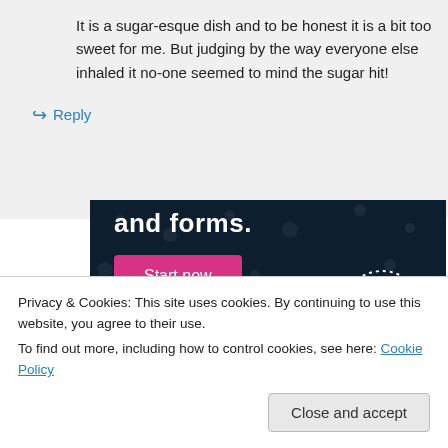It is a sugar-esque dish and to be honest it is a bit too sweet for me. But judging by the way everyone else inhaled it no-one seemed to mind the sugar hit!
↪ Reply
[Figure (screenshot): Advertisement banner with dark navy background showing text 'and forms.' with a pink 'Start now' button and a circular Crowd logo on the right.]
Privacy & Cookies: This site uses cookies. By continuing to use this website, you agree to their use.
To find out more, including how to control cookies, see here: Cookie Policy
Close and accept